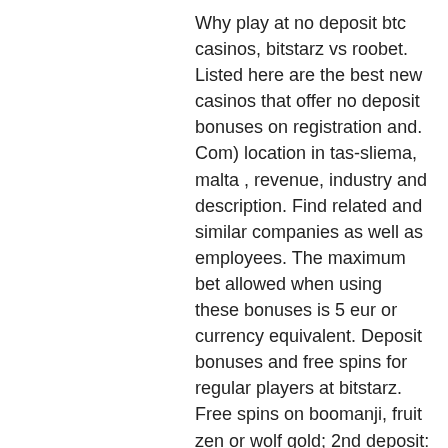Why play at no deposit btc casinos, bitstarz vs roobet. Listed here are the best new casinos that offer no deposit bonuses on registration and. Com) location in tas-sliema, malta , revenue, industry and description. Find related and similar companies as well as employees. The maximum bet allowed when using these bonuses is 5 eur or currency equivalent. Deposit bonuses and free spins for regular players at bitstarz. Free spins on boomanji, fruit zen or wolf gold; 2nd deposit: 50% up to $400 or 1 btc. Deposit bonus with bitstarz casino and an 100% up to €100 welcome bonus. Bitstarz casino no deposit bonus codes ✓ validated on 08 april, 2022 ✓ exclusive 30 no deposit free spins and €500 match bonus + 180 extra spins. The casino welcomes all fans of bitcoin slots, blackjack, and table games. Bitstarz is a relatively new casino that offers great and free bonuses for his or her gamers, bitstarz